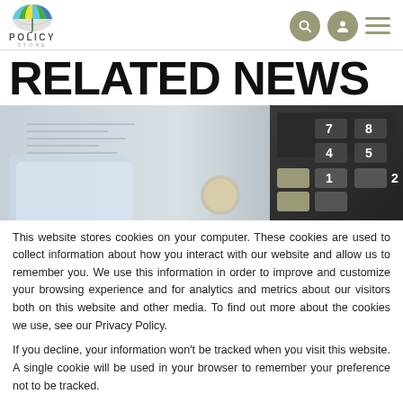Policy Store
RELATED NEWS
[Figure (photo): Close-up photo of financial documents, coins, and a calculator keyboard]
This website stores cookies on your computer. These cookies are used to collect information about how you interact with our website and allow us to remember you. We use this information in order to improve and customize your browsing experience and for analytics and metrics about our visitors both on this website and other media. To find out more about the cookies we use, see our Privacy Policy.
If you decline, your information won't be tracked when you visit this website. A single cookie will be used in your browser to remember your preference not to be tracked.